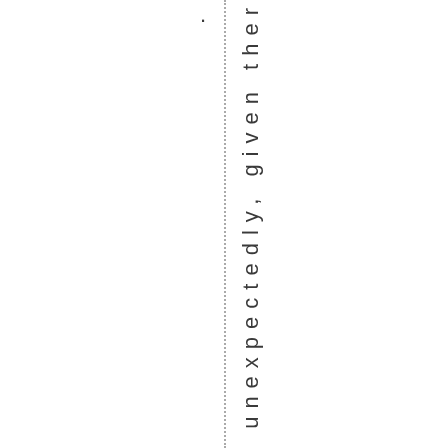. Rather unexpectedly, given ther